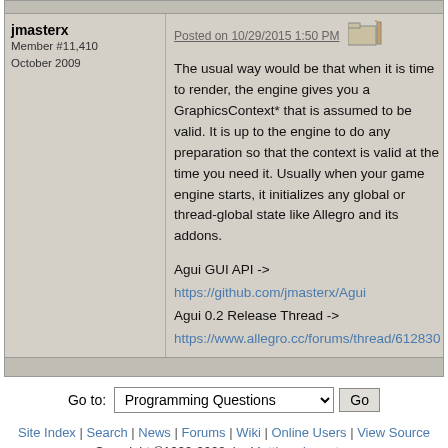jmasterx
Member #11,410
October 2009
Posted on 10/29/2015 1:50 PM
The usual way would be that when it is time to render, the engine gives you a GraphicsContext* that is assumed to be valid. It is up to the engine to do any preparation so that the context is valid at the time you need it. Usually when your game engine starts, it initializes any global or thread-global state like Allegro and its addons.
Agui GUI API ->
https://github.com/jmasterx/Agui
Agui 0.2 Release Thread ->
https://www.allegro.cc/forums/thread/612830
Go to: Programming Questions  Go
Site Index | Search | News | Forums | Wiki | Online Users | View Source
Copyright ©1999-2022, by Matthew Leverton
You are visitor #90,362,805 since January 1999.
This page has been viewed 707 times since March 2002.
Page generated in 0.033715 seconds.